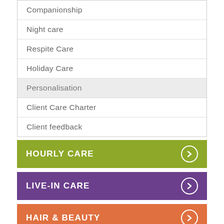Companionship
Night care
Respite Care
Holiday Care
Personalisation
Client Care Charter
Client feedback
HOURLY CARE
LIVE-IN CARE
HAIR & BEAUTY